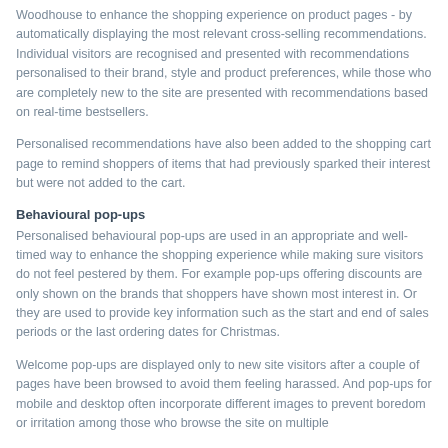Woodhouse to enhance the shopping experience on product pages - by automatically displaying the most relevant cross-selling recommendations. Individual visitors are recognised and presented with recommendations personalised to their brand, style and product preferences, while those who are completely new to the site are presented with recommendations based on real-time bestsellers.
Personalised recommendations have also been added to the shopping cart page to remind shoppers of items that had previously sparked their interest but were not added to the cart.
Behavioural pop-ups
Personalised behavioural pop-ups are used in an appropriate and well-timed way to enhance the shopping experience while making sure visitors do not feel pestered by them. For example pop-ups offering discounts are only shown on the brands that shoppers have shown most interest in. Or they are used to provide key information such as the start and end of sales periods or the last ordering dates for Christmas.
Welcome pop-ups are displayed only to new site visitors after a couple of pages have been browsed to avoid them feeling harassed. And pop-ups for mobile and desktop often incorporate different images to prevent boredom or irritation among those who browse the site on multiple